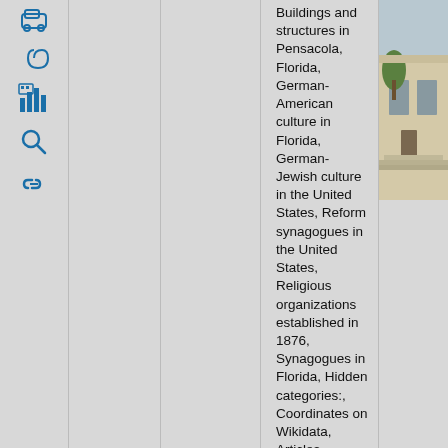[Figure (screenshot): Wikipedia-style sidebar icons: car, spiral, building/chart, magnifier, link/paperclip icons arranged vertically on left panel]
Buildings and structures in Pensacola, Florida, German-American culture in Florida, German-Jewish culture in the United States, Reform synagogues in the United States, Religious organizations established in 1876, Synagogues in Florida, Hidden categories:, Coordinates on Wikidata, Articles containing Hebrew-language text, Commons
[Figure (photo): Photograph of a building exterior, appears to be a synagogue or institutional building with arched windows and steps, trees visible]